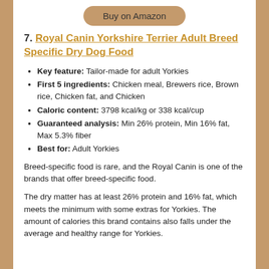Buy on Amazon
7. Royal Canin Yorkshire Terrier Adult Breed Specific Dry Dog Food
Key feature: Tailor-made for adult Yorkies
First 5 ingredients: Chicken meal, Brewers rice, Brown rice, Chicken fat, and Chicken
Caloric content: 3798 kcal/kg or 338 kcal/cup
Guaranteed analysis: Min 26% protein, Min 16% fat, Max 5.3% fiber
Best for: Adult Yorkies
Breed-specific food is rare, and the Royal Canin is one of the brands that offer breed-specific food.
The dry matter has at least 26% protein and 16% fat, which meets the minimum with some extras for Yorkies. The amount of calories this brand contains also falls under the average and healthy range for Yorkies.